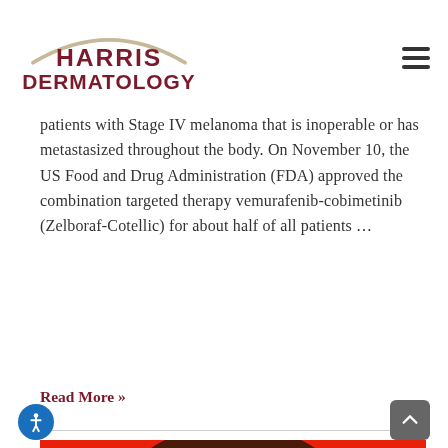Harris Dermatology
patients with Stage IV melanoma that is inoperable or has metastasized throughout the body. On November 10, the US Food and Drug Administration (FDA) approved the combination targeted therapy vemurafenib-cobimetinib (Zelboraf-Cotellic) for about half of all patients …
Read More »
[Figure (photo): A person with dreadlocks against a red background, shown from shoulders up, looking sideways]